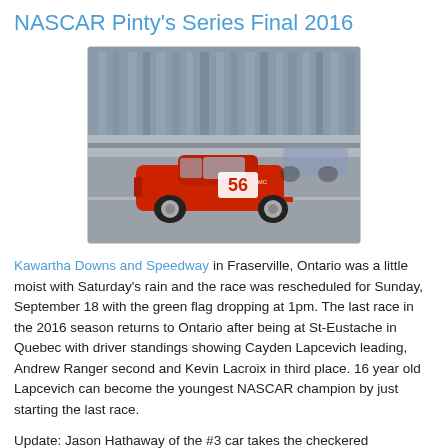NASCAR Pinty's Series Final 2016
[Figure (photo): Red NASCAR stock car #56 racing on a speedway track, motion blur in background indicating high speed.]
Kawartha Downs and Speedway in Fraserville, Ontario was a little moist with Saturday's rain and the race was rescheduled for Sunday, September 18 with the green flag dropping at 1pm. The last race in the 2016 season returns to Ontario after being at St-Eustache in Quebec with driver standings showing Cayden Lapcevich leading, Andrew Ranger second and Kevin Lacroix in third place. 16 year old Lapcevich can become the youngest NASCAR champion by just starting the last race.
Update: Jason Hathaway of the #3 car takes the checkered